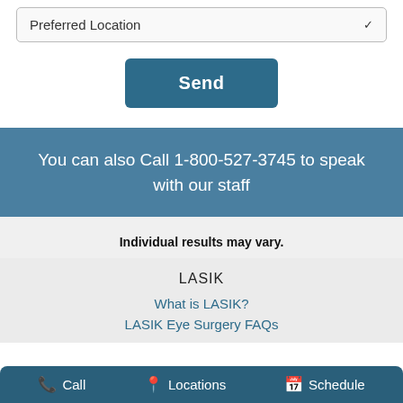Preferred Location
Send
You can also Call 1-800-527-3745 to speak with our staff
Individual results may vary.
LASIK
What is LASIK?
LASIK Eye Surgery FAQs
Call   Locations   Schedule